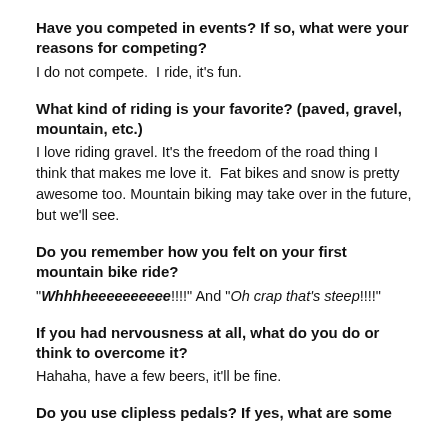Have you competed in events? If so, what were your reasons for competing?
I do not compete.  I ride, it's fun.
What kind of riding is your favorite? (paved, gravel, mountain, etc.)
I love riding gravel. It's the freedom of the road thing I think that makes me love it.  Fat bikes and snow is pretty awesome too. Mountain biking may take over in the future, but we'll see.
Do you remember how you felt on your first mountain bike ride?
"Whhhheeeeeeeeee!!!!" And "Oh crap that's steep!!!!"
If you had nervousness at all, what do you do or think to overcome it?
Hahaha, have a few beers, it'll be fine.
Do you use clipless pedals? If yes, what are some